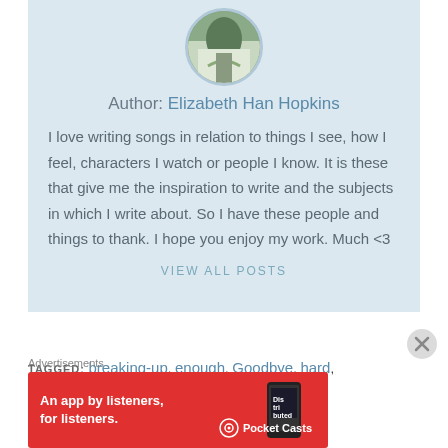[Figure (photo): Circular avatar photo of author Elizabeth Han Hopkins, showing a nature/outdoor scene]
Author: Elizabeth Han Hopkins
I love writing songs in relation to things I see, how I feel, characters I watch or people I know. It is these that give me the inspiration to write and the subjects in which I write about. So I have these people and things to thank. I hope you enjoy my work. Much <3
VIEW ALL POSTS
TAGGED: breaking-up, enough, Goodbye, hard, leaving, Love, song, songwriting
Advertisements
[Figure (screenshot): Pocket Casts advertisement banner: An app by listeners, for listeners.]